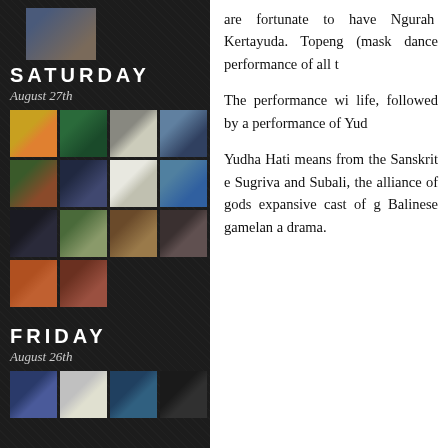[Figure (photo): Top strip image - figures/artwork]
SATURDAY
August 27th
[Figure (photo): Grid of 14 thumbnail images for Saturday August 27th events]
FRIDAY
August 26th
[Figure (photo): Grid of 4 thumbnail images for Friday August 26th events]
are fortunate to have Ngurah Kertayuda. Topeng (mask dance performance of all t

The performance wi life, followed by a performance of Yud

Yudha Hati means from the Sanskrit e Sugriva and Subali, the alliance of gods expansive cast of g Balinese gamelan a drama.